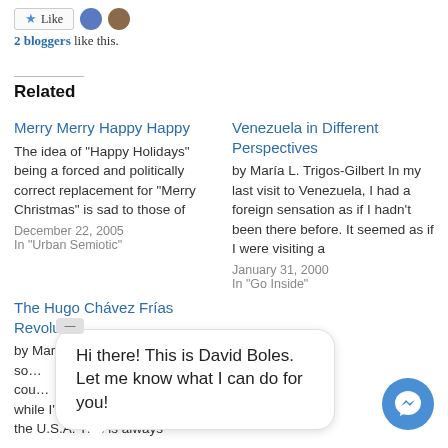2 bloggers like this.
Related
Merry Merry Happy Happy
The idea of "Happy Holidays" being a forced and politically correct replacement for "Merry Christmas" is sad to those of
December 22, 2005
In "Urban Semiotic"
Venezuela in Different Perspectives
by María L. Trigos-Gilbert In my last visit to Venezuela, I had a foreign sensation as if I hadn't been there before. It seemed as if I were visiting a
January 31, 2000
In "Go Inside"
The Hugo Chávez Frías Revolution
by María L. Trigos-Gilbert It's so… cou… while I'm currently living in the U.S.A. This is always
Hi there! This is David Boles. Let me know what I can do for you!